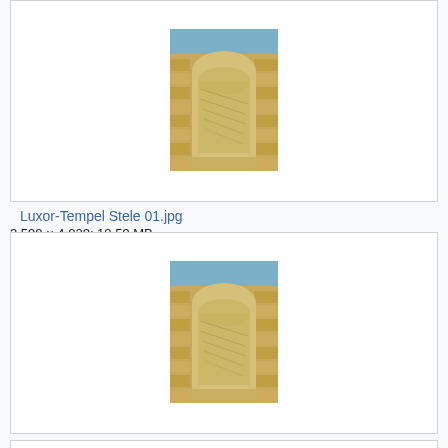[Figure (photo): Photograph of Luxor-Tempel Stele 01 — a stone stele with arched top showing hieroglyphic inscriptions, set against a sandy brick wall background]
Luxor-Tempel Stele 01.jpg
3,598 × 4,828; 10.59 MB
[Figure (photo): Photograph of Luxor-Tempel Stele 02 — a stone stele with arched top showing hieroglyphic inscriptions, set against a sandy brick wall background]
Luxor-Tempel Stele 02.jpg
3,498 × 4,659; 12.5 MB